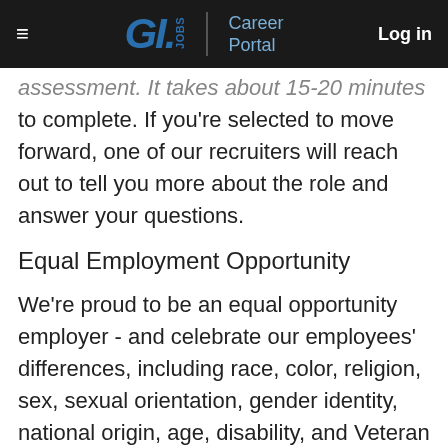G.I. Jobs | Career Portal  Log in
assessment. It takes about 15-20 minutes to complete. If you're selected to move forward, one of our recruiters will reach out to tell you more about the role and answer your questions.
Equal Employment Opportunity
We're proud to be an equal opportunity employer - and celebrate our employees' differences, including race, color, religion, sex, sexual orientation, gender identity, national origin, age, disability, and Veteran status. At Verizon,